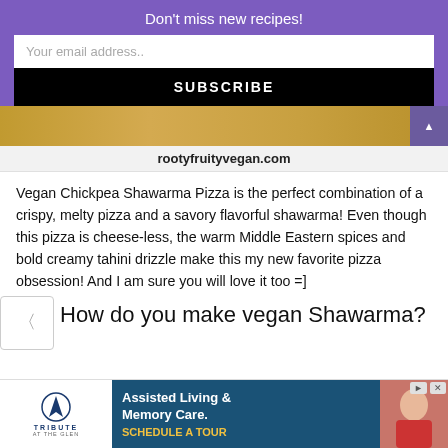Don't miss new recipes!
Your email address..
SUBSCRIBE
[Figure (photo): Golden/tan colored image strip (food photo) with a purple arrow button on the right]
rootyfruityvegan.com
Vegan Chickpea Shawarma Pizza is the perfect combination of a crispy, melty pizza and a savory flavorful shawarma! Even though this pizza is cheese-less, the warm Middle Eastern spices and bold creamy tahini drizzle make this my new favorite pizza obsession! And I am sure you will love it too =]
How do you make vegan Shawarma?
[Figure (photo): Advertisement for Tribute at the Glen - Assisted Living & Memory Care with a photo of an elderly person]